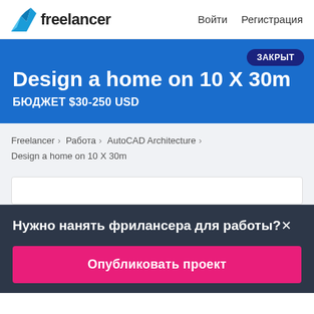Freelancer   Войти   Регистрация
Design a home on 10 X 30m
БЮДЖЕТ $30-250 USD
ЗАКРЫТ
Freelancer › Работа › AutoCAD Architecture › Design a home on 10 X 30m
Нужно нанять фрилансера для работы?✕
Опубликовать проект